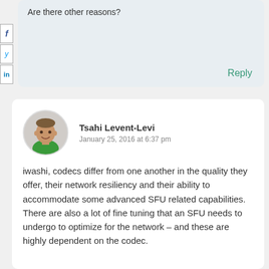Are there other reasons?
Reply
Tsahi Levent-Levi
January 25, 2016 at 6:37 pm
iwashi, codecs differ from one another in the quality they offer, their network resiliency and their ability to accommodate some advanced SFU related capabilities. There are also a lot of fine tuning that an SFU needs to undergo to optimize for the network – and these are highly dependent on the codec.